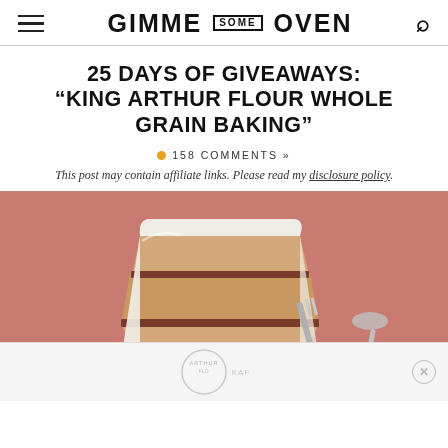GIMME SOME OVEN
25 DAYS OF GIVEAWAYS: “KING ARTHUR FLOUR WHOLE GRAIN BAKING”
158 COMMENTS »
This post may contain affiliate links. Please read my disclosure policy.
[Figure (photo): A slice of layered whole grain cake with white frosting and dark jam filling, served on a plate with raspberries and a fork. Below the cake photo is an advertisement featuring the King Arthur Flour logo.]